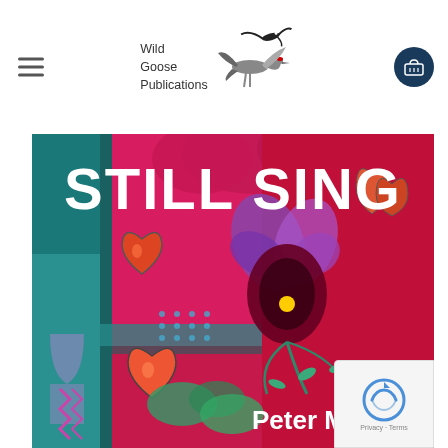Wild Goose Publications
[Figure (illustration): Book cover art for 'Still Sing' by Peter Millar. Colorful mixed-media painting with pink and red background featuring stylized flowers with heart-shaped petals, teal accents and patterns. The title 'STILL SING' appears in large bold white text at the top, and the author name 'Peter Millar' appears at the bottom right in white bold text.]